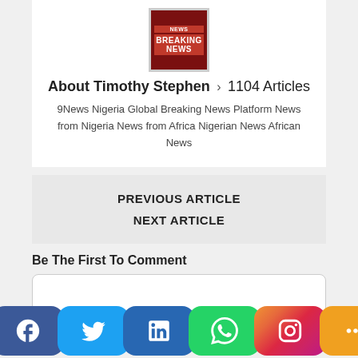[Figure (logo): Breaking news logo box with red background, white text reading BREAKING NEWS]
About Timothy Stephen › 1104 Articles
9News Nigeria Global Breaking News Platform News from Nigeria News from Africa Nigerian News African News
PREVIOUS ARTICLE
NEXT ARTICLE
Be The First To Comment
[Figure (screenshot): Social media share buttons: Facebook, Twitter, LinkedIn, WhatsApp, Instagram, More]